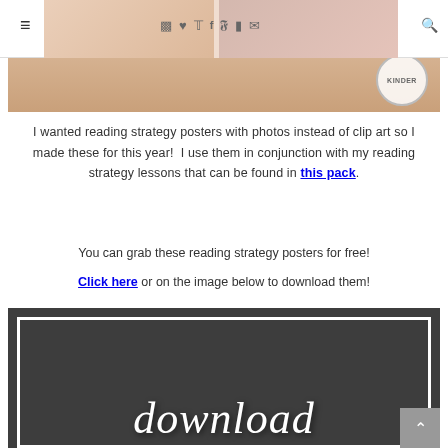[Figure (screenshot): Website header with hamburger menu, social media icons (Instagram, heart, Twitter, Facebook, Pinterest, cart, email), search icon, and a partial blog header image with a 'KINDER' circular badge]
I wanted reading strategy posters with photos instead of clip art so I made these for this year!  I use them in conjunction with my reading strategy lessons that can be found in this pack.
You can grab these reading strategy posters for free!
Click here or on the image below to download them!
[Figure (screenshot): Dark gray download button/banner with white script text reading 'download' and a decorative white double border frame]